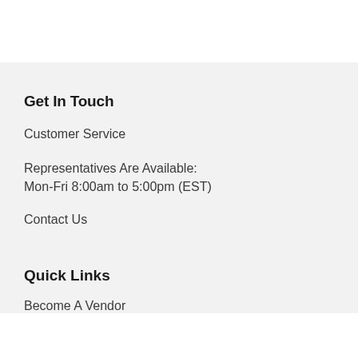Get In Touch
Customer Service
Representatives Are Available:
Mon-Fri 8:00am to 5:00pm (EST)
Contact Us
Quick Links
Become A Vendor